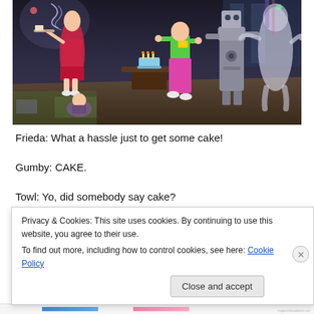[Figure (screenshot): Screenshot from The Sims video game showing characters at a birthday party scene with a cake on a table. Characters include a woman in a red dress, a figure in green shirt and pink pants, a robot-like character, and a ghost figure. The room has colorful decorations.]
Frieda: What a hassle just to get some cake!
Gumby: CAKE.
Towl: Yo, did somebody say cake?
Privacy & Cookies: This site uses cookies. By continuing to use this website, you agree to their use.
To find out more, including how to control cookies, see here: Cookie Policy
Close and accept